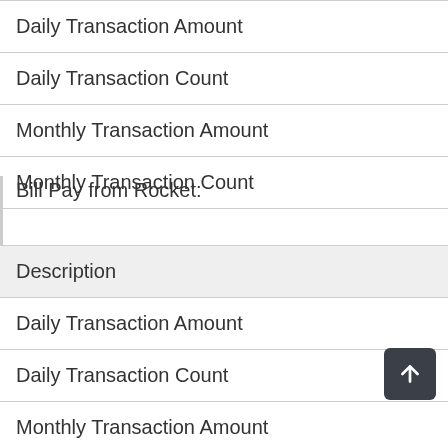| Daily Transaction Amount |
| Daily Transaction Count |
| Monthly Transaction Amount |
| Monthly Transaction Count |
Bill Pay from Rocket:
| Description |
| --- |
| Daily Transaction Amount |
| Daily Transaction Count |
| Monthly Transaction Amount |
| Monthly Transaction Count |